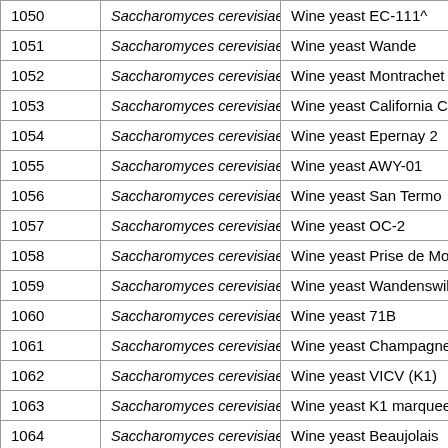| 1050 | Saccharomyces cerevisiae | Wine yeast EC-111^ |
| 1051 | Saccharomyces cerevisiae | Wine yeast Wande |
| 1052 | Saccharomyces cerevisiae | Wine yeast Montrachet |
| 1053 | Saccharomyces cerevisiae | Wine yeast California Cha |
| 1054 | Saccharomyces cerevisiae | Wine yeast Epernay 2 |
| 1055 | Saccharomyces cerevisiae | Wine yeast AWY-01 |
| 1056 | Saccharomyces cerevisiae | Wine yeast San Termo |
| 1057 | Saccharomyces cerevisiae | Wine yeast OC-2 |
| 1058 | Saccharomyces cerevisiae | Wine yeast Prise de Mou |
| 1059 | Saccharomyces cerevisiae | Wine yeast Wandenswil 2 |
| 1060 | Saccharomyces cerevisiae | Wine yeast 71B |
| 1061 | Saccharomyces cerevisiae | Wine yeast Champagne? |
| 1062 | Saccharomyces cerevisiae | Wine yeast VICV (K1) |
| 1063 | Saccharomyces cerevisiae | Wine yeast K1 marquee l |
| 1064 | Saccharomyces cerevisiae | Wine yeast Beaujolais |